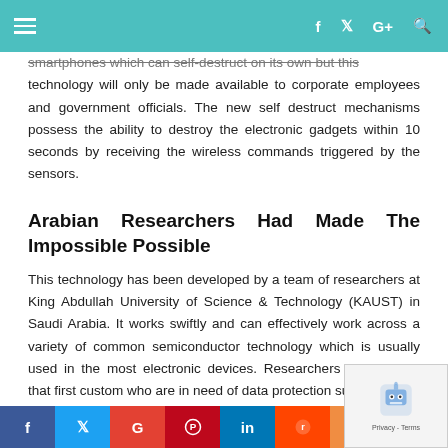navigation bar with hamburger menu and icons
smartphones which can self-destruct on its own but this technology will only be made available to corporate employees and government officials. The new self destruct mechanisms possess the ability to destroy the electronic gadgets within 10 seconds by receiving the wireless commands triggered by the sensors.
Arabian Researchers Had Made The Impossible Possible
This technology has been developed by a team of researchers at King Abdullah University of Science & Technology (KAUST) in Saudi Arabia. It works swiftly and can effectively work across a variety of common semiconductor technology which is usually used in the most electronic devices. Researchers have stated that first customers who are in need of data protection such
Social share bar: Facebook, Twitter, Google, Pinterest, LinkedIn, Reddit, Mail